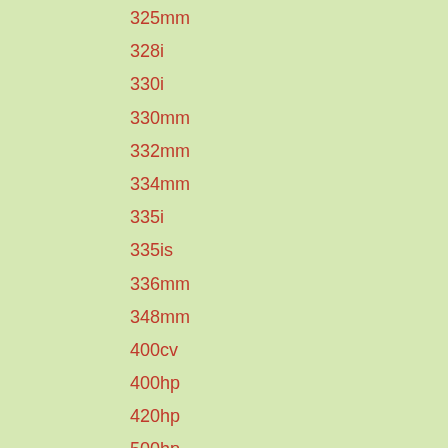325mm
328i
330i
330mm
332mm
334mm
335i
335is
336mm
348mm
400cv
400hp
420hp
500hp
500whp